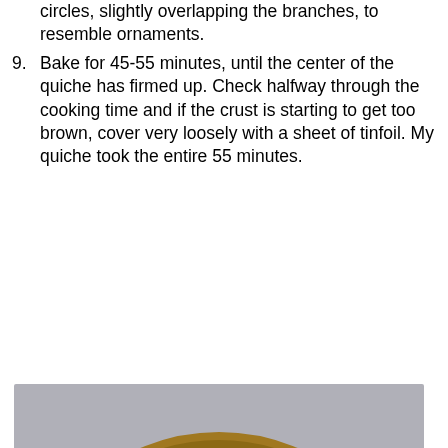circles, slightly overlapping the branches, to resemble ornaments.
9. Bake for 45-55 minutes, until the center of the quiche has firmed up. Check halfway through the cooking time and if the crust is starting to get too brown, cover very loosely with a sheet of tinfoil. My quiche took the entire 55 minutes.
[Figure (photo): A baked quiche with a golden brown crust, decorated with asparagus spears arranged in a herringbone or leaf/tree branch pattern radiating from the center, with small red pepper pieces scattered throughout, sitting on a metallic surface.]
Advertisements